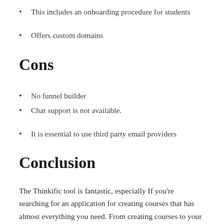This includes an onboarding procedure for students
Offers custom domains
Cons
No funnel builder
Chat support is not available.
It is essential to use third party email providers
Conclusion
The Thinkific tool is fantastic, especially If you're searching for an application for creating courses that has almost everything you need. From creating courses to your web site Thinkific is a great tool to help manage your business.
Moreover the platform can assist your business by providing